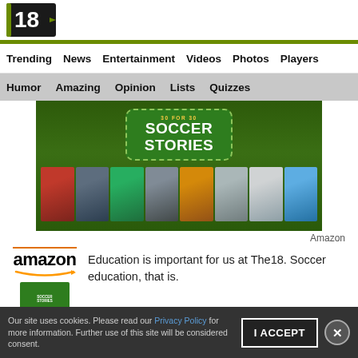[Figure (logo): The18 website logo — stylized number 18 in white on dark background with green accent lines]
Trending  News  Entertainment  Videos  Photos  Players
Humor  Amazing  Opinion  Lists  Quizzes
[Figure (photo): Soccer Stories promotional image with ticket graphic and collage of sports photos below, Amazon branding]
Amazon
Education is important for us at The18. Soccer education, that is.
Our site uses cookies. Please read our Privacy Policy for more information. Further use of this site will be considered consent.